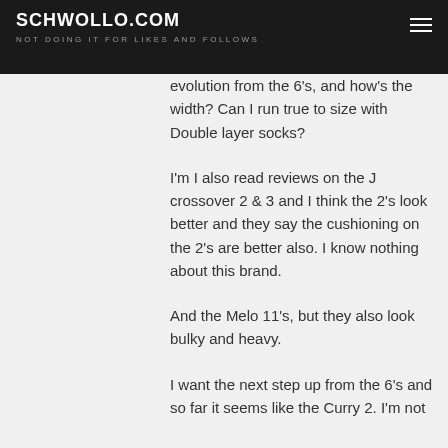SCHWOLLO.COM
NOT DOING IT FOR LIKES AND FOLLOWS
evolution from the 6's, and how's the width? Can I run true to size with Double layer socks?
I'm I also read reviews on the J crossover 2 & 3 and I think the 2's look better and they say the cushioning on the 2's are better also. I know nothing about this brand.
And the Melo 11's, but they also look bulky and heavy.
I want the next step up from the 6's and so far it seems like the Curry 2. I'm not